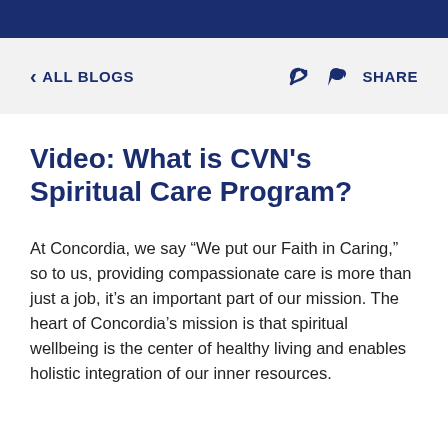< ALL BLOGS    SHARE
Video: What is CVN’s Spiritual Care Program?
At Concordia, we say “We put our Faith in Caring,” so to us, providing compassionate care is more than just a job, it’s an important part of our mission. The heart of Concordia’s mission is that spiritual wellbeing is the center of healthy living and enables holistic integration of our inner resources.